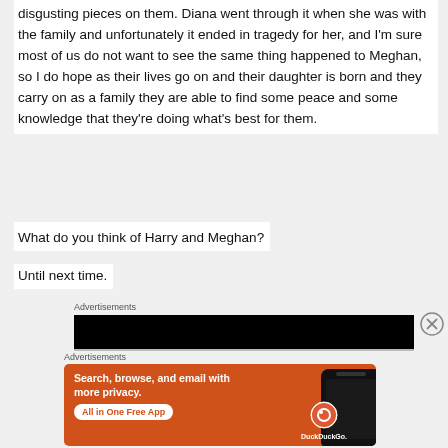disgusting pieces on them. Diana went through it when she was with the family and unfortunately it ended in tragedy for her, and I'm sure most of us do not want to see the same thing happened to Meghan, so I do hope as their lives go on and their daughter is born and they carry on as a family they are able to find some peace and some knowledge that they're doing what's best for them.
What do you think of Harry and Meghan?
Until next time.
Advertisements
[Figure (screenshot): Black advertisement banner]
Advertisements
[Figure (advertisement): DuckDuckGo advertisement on orange background with text 'Search, browse, and email with more privacy. All in One Free App' and DuckDuckGo logo with phone mockup]